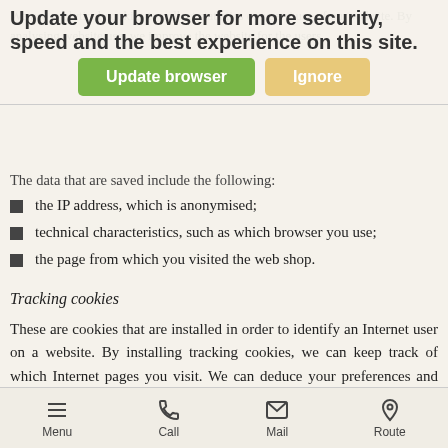[Figure (screenshot): Browser update notification banner overlaying the page content, with bold title text 'Update your browser for more security, speed and the best experience on this site.' and two buttons: a green 'Update browser' button and a tan/yellow 'Ignore' button.]
We use analytical cookies to collect statistics on users' use of our website. By analysing website use, we improve the website for the users.
The data that are saved include the following:
the IP address, which is anonymised;
technical characteristics, such as which browser you use;
the page from which you visited the web shop.
Tracking cookies
These are cookies that are installed in order to identify an Internet user on a website. By installing tracking cookies, we can keep track of which Internet pages you visit. We can deduce your preferences and interests based on which websites you visit. We can make you personal offers based on that information.
Advertising cookies
We use advertising cookies to display personalised advertisements and assess the effectiveness of an advertising campaign. The
Menu   Call   Mail   Route